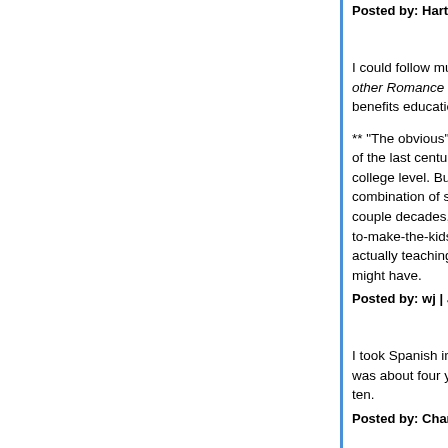Posted by: Hartmut | July 16, 2020 at 02:51 PM
I could follow much of it as well. In spite of having [text continues off page] other Romance language. Guess growing up in C[ontinues] benefits educationally, besides the obvious.**
** "The obvious" being the superb educational sys[tem continues] of the last century, when I was in it. Today, it's still [continues] college level. But the grammar and high schools h[ave] combination of serious under-funding (especially [continues] couple decades, a while back, of some well-mean[ing] to-make-the-kids-feel-good-about-themselves, to [the exclusion of] actually teaching stuff. Mind, the kids do still learn [what they] might have.
Posted by: wj | July 16, 2020 at 02:59 PM
I took Spanish in high school due, largely perhaps[continues] was about four years older than me. And of the op[tions] ten.
Posted by: CharlesWT | July 16, 2020 at 03:08 PM